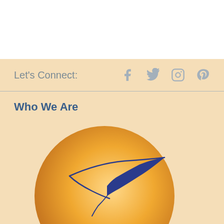Let's Connect:
[Figure (logo): Social media icons: Facebook, Twitter, Instagram, Pinterest]
Who We Are
[Figure (logo): Prabhuji logo — orange circle with blue seagull and cursive Prabhuji text]